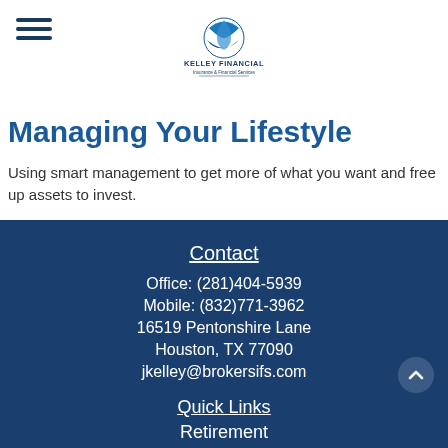[Figure (logo): Kelley Financial Insurance & Financial Services logo with blue swirl icon]
Managing Your Lifestyle
Using smart management to get more of what you want and free up assets to invest.
Contact
Office: (281)404-5939
Mobile: (832)771-3962
16519 Pentonshire Lane
Houston, TX 77090
jkelley@brokersifs.com
Quick Links
Retirement